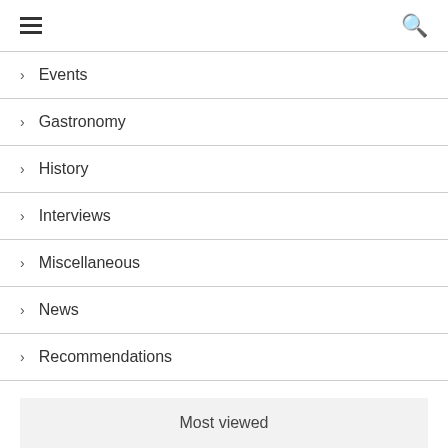≡ 🔍
Events
Gastronomy
History
Interviews
Miscellaneous
News
Recommendations
Most viewed